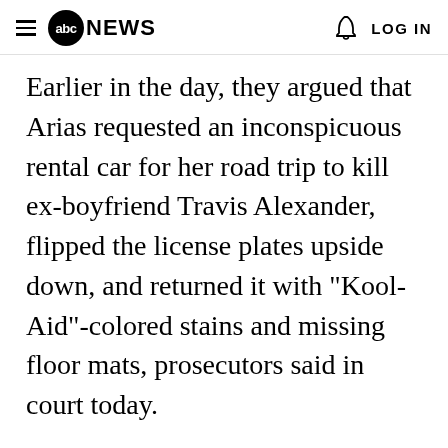abc NEWS  LOG IN
Earlier in the day, they argued that Arias requested an inconspicuous rental car for her road trip to kill ex-boyfriend Travis Alexander, flipped the license plates upside down, and returned it with "Kool-Aid"-colored stains and missing floor mats, prosecutors said in court today.